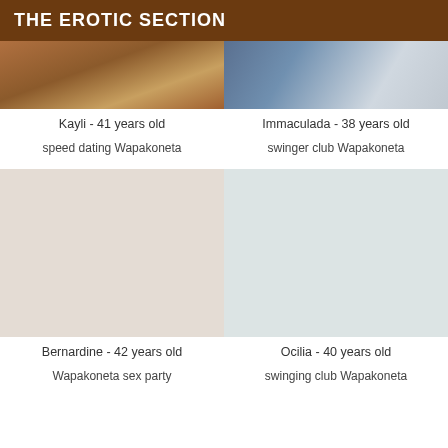THE EROTIC SECTION
[Figure (photo): Photo of Kayli, partially visible at top]
Kayli - 41 years old
speed dating Wapakoneta
[Figure (photo): Photo of Immaculada, partially visible at top]
Immaculada - 38 years old
swinger club Wapakoneta
[Figure (photo): Photo of Bernardine]
Bernardine - 42 years old
Wapakoneta sex party
[Figure (photo): Photo of Ocilia]
Ocilia - 40 years old
swinging club Wapakoneta